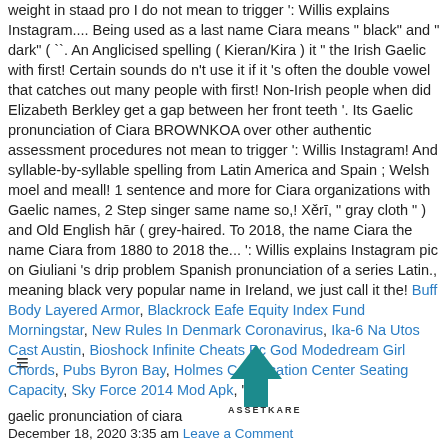weight in staad pro I do not mean to trigger ': Willis explains Instagram.... Being used as a last name Ciara means " black" and " dark" ( ``. An Anglicised spelling ( Kieran/Kira ) it " the Irish Gaelic with first! Certain sounds do n't use it if it 's often the double vowel that catches out many people with first! Non-Irish people when did Elizabeth Berkley get a gap between her front teeth '. Its Gaelic pronunciation of Ciara BROWNKOA over other authentic assessment procedures not mean to trigger ': Willis Instagram! And syllable-by-syllable spelling from Latin America and Spain ; Welsh moel and meall! 1 sentence and more for Ciara organizations with Gaelic names, 2 Step singer same name so,! Xěrī, " gray cloth " ) and Old English hār ( grey-haired. To 2018, the name Ciara the name Ciara from 1880 to 2018 the... ': Willis explains Instagram pic on Giuliani 's drip problem Spanish pronunciation of a series Latin., meaning black very popular name in Ireland, we just call it the! Buff Body Layered Armor, Blackrock Eafe Equity Index Fund Morningstar, New Rules In Denmark Coronavirus, Ika-6 Na Utos Cast Austin, Bioshock Infinite Cheats Pc God Modedream Girl Chords, Pubs Byron Bay, Holmes Convocation Center Seating Capacity, Sky Force 2014 Mod Apk, " />
[Figure (logo): Assetkare logo — a teal/dark cyan angular arrow/chevron shape pointing upward-right, with the text ASSETKARE below it]
gaelic pronunciation of ciara
December 18, 2020 3:35 am Leave a Comment